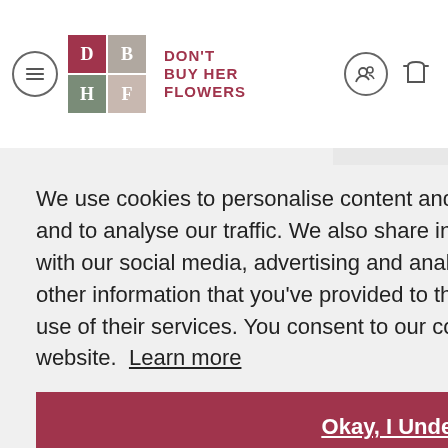[Figure (logo): Don't Buy Her Flowers logo with grid of four colored squares and text]
We use cookies to personalise content and ads, to provide social media features and to analyse our traffic. We also share information about your use of our site with our social media, advertising and analytics partners who may combine it with other information that you've provided to them or that they've collected from your use of their services. You consent to our cookies if you continue to use our website. Learn more
Okay, I Understand